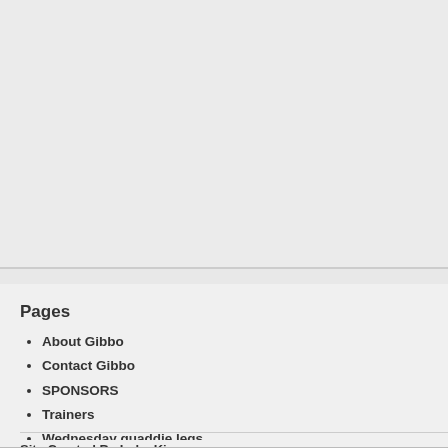office on 02 9660 7621 or email nick
Pages
About Gibbo
Contact Gibbo
SPONSORS
Trainers
Wednesday quaddie legs
Categories
Blackbookers
Breeding Buffs
One on One
The Punt
This Just In
Trainers
Wrap Up
Site Created By Luke King
Copyright . All Rights Reserved.